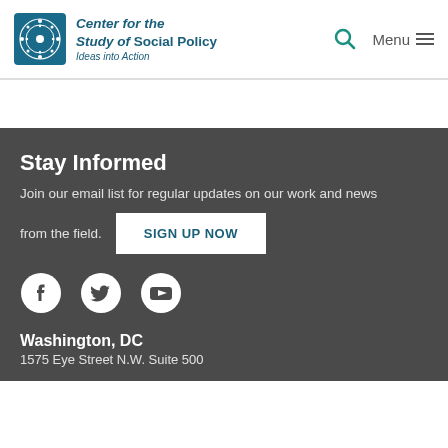[Figure (logo): Center for the Study of Social Policy logo with circular decorative icon and text 'Center for the Study of Social Policy – Ideas into Action']
Menu
Stay Informed
Join our email list for regular updates on our work and news from the field.
SIGN UP NOW
[Figure (illustration): Social media icons: Facebook, Twitter, YouTube]
Washington, DC
1575 Eye Street N.W. Suite 500